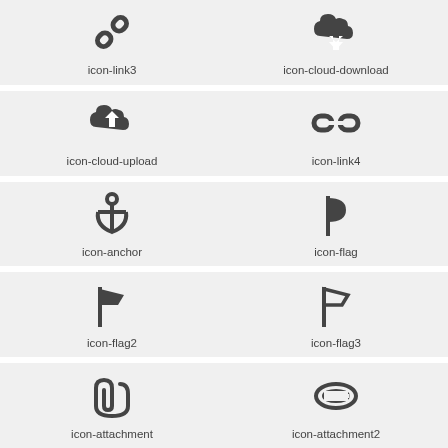[Figure (illustration): icon-link3: chain link icon]
icon-link3
[Figure (illustration): icon-cloud-download: cloud with download arrow icon]
icon-cloud-download
[Figure (illustration): icon-cloud-upload: cloud with upload arrow icon]
icon-cloud-upload
[Figure (illustration): icon-link4: rectangular chain link icon]
icon-link4
[Figure (illustration): icon-anchor: anchor icon]
icon-anchor
[Figure (illustration): icon-flag: filled flag icon]
icon-flag
[Figure (illustration): icon-flag2: flag2 icon]
icon-flag2
[Figure (illustration): icon-flag3: flag3 outline icon]
icon-flag3
[Figure (illustration): icon-attachment: paperclip icon]
icon-attachment
[Figure (illustration): icon-attachment2: oval paperclip icon]
icon-attachment2